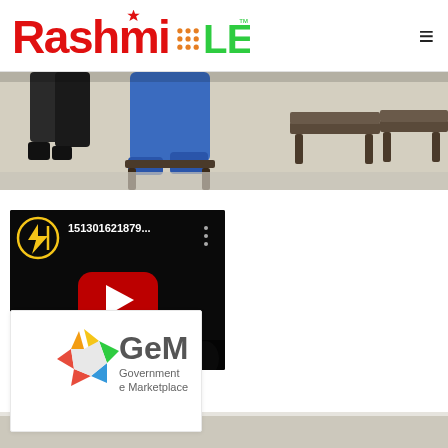Rashmi LED
[Figure (photo): Cropped photo of people seated on chairs, showing legs and lower body in an indoor setting]
[Figure (screenshot): YouTube video thumbnail showing a dark scene with a red play button, titled '151301621879...' with a channel icon featuring a lightning bolt symbol]
[Figure (logo): GeM Government e Marketplace logo with a colorful star-like icon]